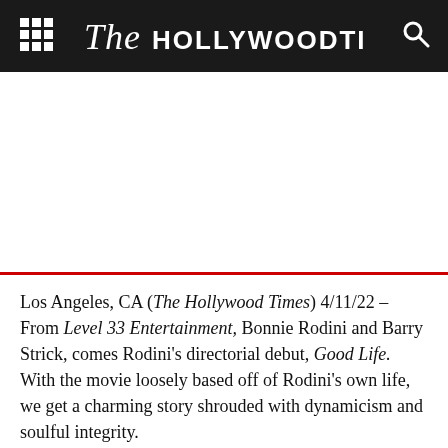The Hollywood Times
[Figure (other): Large white empty space / advertisement area below the header bar]
Los Angeles, CA (The Hollywood Times) 4/11/22 – From Level 33 Entertainment, Bonnie Rodini and Barry Strick, comes Rodini's directorial debut, Good Life. With the movie loosely based off of Rodini's own life, we get a charming story shrouded with dynamicism and soulful integrity.